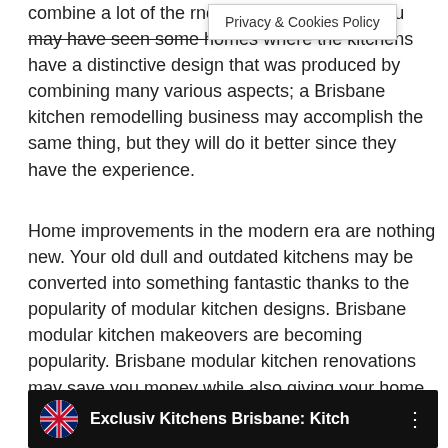combine a lot of the technology on the market. You may have seen some homes where the kitchens have a distinctive design that was produced by combining many various aspects; a Brisbane kitchen remodelling business may accomplish the same thing, but they will do it better since they have the experience.
Privacy & Cookies Policy
Home improvements in the modern era are nothing new. Your old dull and outdated kitchens may be converted into something fantastic thanks to the popularity of modular kitchen designs. Brisbane modular kitchen makeovers are becoming popularity. Brisbane modular kitchen renovations may save you money while also giving your home a fresh style.
[Figure (screenshot): Video bar showing Exclusiv Kitchens Brisbane video thumbnail with flag icon and three-dot menu]